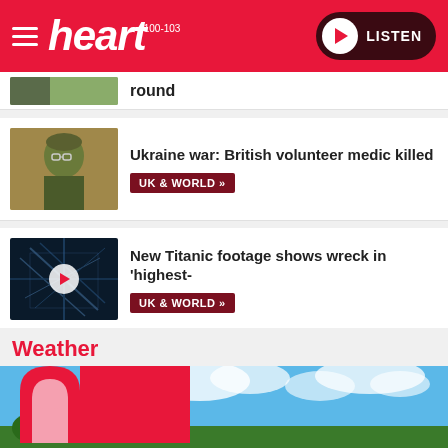heart 100-103 | LISTEN
round
Ukraine war: British volunteer medic killed
UK & WORLD »
New Titanic footage shows wreck in 'highest-
UK & WORLD »
Weather
[Figure (illustration): Heart radio weather banner with pink heart logo overlaid on blue sky with clouds and green trees]